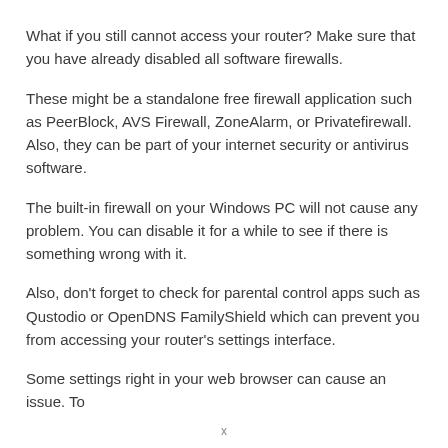What if you still cannot access your router? Make sure that you have already disabled all software firewalls.
These might be a standalone free firewall application such as PeerBlock, AVS Firewall, ZoneAlarm, or Privatefirewall. Also, they can be part of your internet security or antivirus software.
The built-in firewall on your Windows PC will not cause any problem. You can disable it for a while to see if there is something wrong with it.
Also, don't forget to check for parental control apps such as Qustodio or OpenDNS FamilyShield which can prevent you from accessing your router's settings interface.
Some settings right in your web browser can cause an issue. To
x